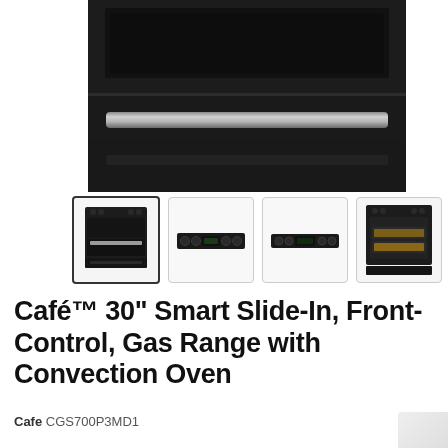[Figure (photo): Close-up of a dark/matte black Café gas range showing the oven door area with a stainless steel handle bar on a black background]
[Figure (photo): Thumbnail row of 4 product images: 1) full range front view (selected), 2) control panel strip close-up, 3) control panel strip close-up alternate, 4) oven interior with food on racks. Arrow button on right.]
Café™ 30" Smart Slide-In, Front-Control, Gas Range with Convection Oven
Cafe CGS700P3MD1